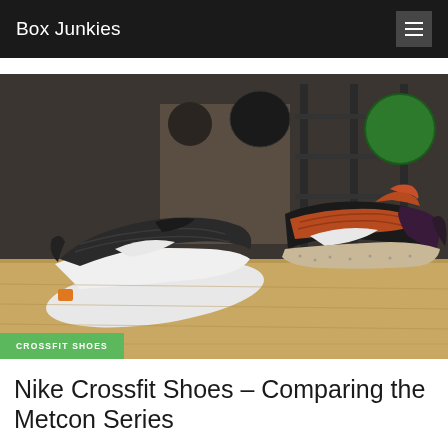Box Junkies
[Figure (photo): Two Nike Metcon crossfit shoes displayed side by side on a wooden surface in a gym, one black/white and one black/orange/purple, with gym equipment in background]
CROSSFIT SHOES
Nike Crossfit Shoes – Comparing the Metcon Series